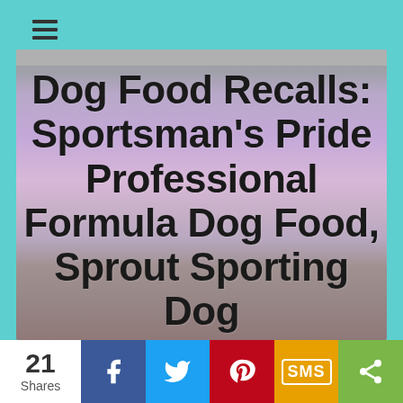[Figure (screenshot): Hamburger menu icon (three horizontal lines) in top left corner on teal background]
Dog Food Recalls: Sportsman's Pride Professional Formula Dog Food, Sprout Sporting Dog
[Figure (photo): Blurred product packaging photo showing purple dog food bags in background]
21 Shares
[Figure (infographic): Social share bar with Facebook, Twitter, Pinterest, SMS, and generic share buttons]